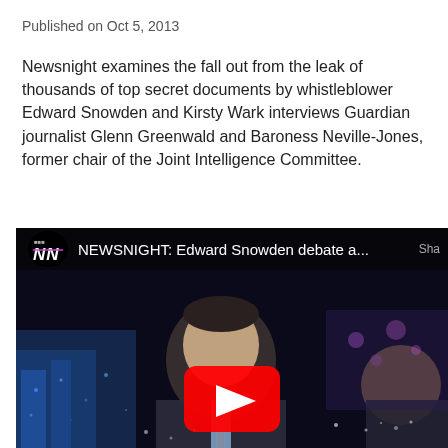Published on Oct 5, 2013
Newsnight examines the fall out from the leak of thousands of top secret documents by whistleblower Edward Snowden and Kirsty Wark interviews Guardian journalist Glenn Greenwald and Baroness Neville-Jones, former chair of the Joint Intelligence Committee.
[Figure (screenshot): YouTube video thumbnail showing BBC Newsnight program titled 'NEWSNIGHT: Edward Snowden debate a...' with a man in a suit and tie (Glenn Greenwald) visible on a dark studio background, a woman with brown hair visible on the right, and a red YouTube play button overlay in the center.]